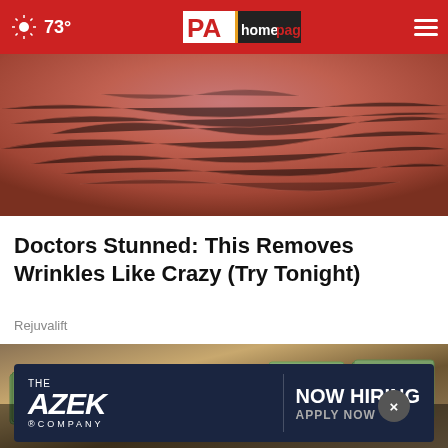73° PA homepage
[Figure (photo): Close-up of aged wrinkled skin with reddish tone]
Doctors Stunned: This Removes Wrinkles Like Crazy (Try Tonight)
Rejuvalift
[Figure (photo): Stacks of bundled US $100 dollar bills on a surface]
[Figure (photo): THE AZEK COMPANY — NOW HIRING APPLY NOW advertisement banner]